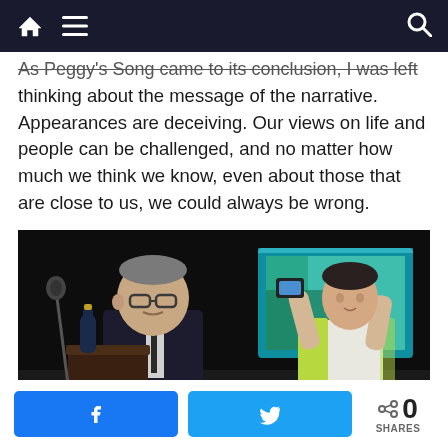[Navigation bar with home icon, menu icon, search icon]
As Peggy's Song came to its conclusion, I was left thinking about the message of the narrative. Appearances are deceiving. Our views on life and people can be challenged, and no matter how much we think we know, even about those that are close to us, we could always be wrong.
[Figure (photo): Theater performance photo showing a man in a dark suit with glasses speaking at a podium with a wine bottle nearby, and a woman in a white dress and yellow jacket holding a phone/camera, with a blue projection screen in the background.]
Facebook share button | Twitter share button | < 0 SHARES